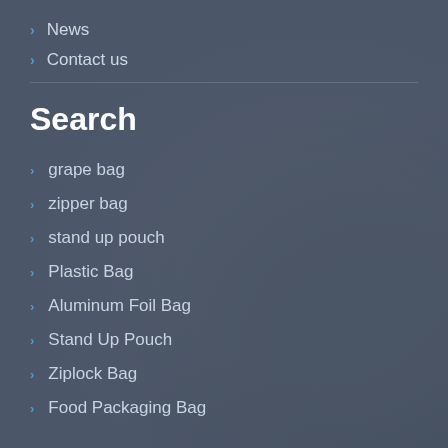News
Contact us
Search
grape bag
zipper bag
stand up pouch
Plastic Bag
Aluminum Foil Bag
Stand Up Pouch
Ziplock Bag
Food Packaging Bag